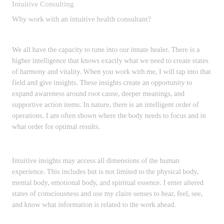Intuitive Consulting
Why work with an intuitive health consultant?
We all have the capacity to tune into our innate healer. There is a higher intelligence that knows exactly what we need to create states of harmony and vitality. When you work with me, I will tap into that field and give insights. These insights create an opportunity to expand awareness around root cause, deeper meanings, and supportive action items. In nature, there is an intelligent order of operations. I am often shown where the body needs to focus and in what order for optimal results.
Intuitive insights may access all dimensions of the human experience. This includes but is not limited to the physical body, mental body, emotional body, and spiritual essence. I enter altered states of consciousness and use my claire senses to hear, feel, see, and know what information is related to the work ahead.